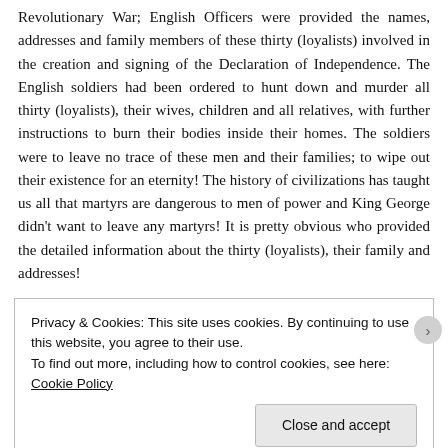Revolutionary War; English Officers were provided the names, addresses and family members of these thirty (loyalists) involved in the creation and signing of the Declaration of Independence. The English soldiers had been ordered to hunt down and murder all thirty (loyalists), their wives, children and all relatives, with further instructions to burn their bodies inside their homes. The soldiers were to leave no trace of these men and their families; to wipe out their existence for an eternity! The history of civilizations has taught us all that martyrs are dangerous to men of power and King George didn't want to leave any martyrs! It is pretty obvious who provided the detailed information about the thirty (loyalists), their family and addresses!
Privacy & Cookies: This site uses cookies. By continuing to use this website, you agree to their use.
To find out more, including how to control cookies, see here: Cookie Policy
Close and accept